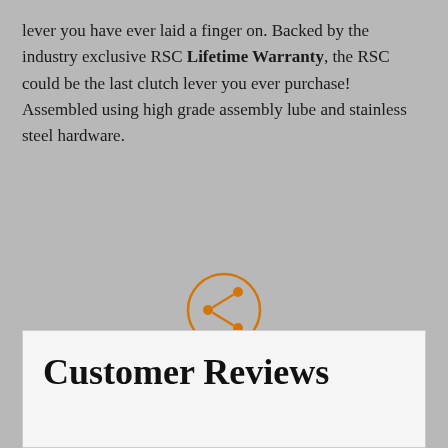lever you have ever laid a finger on. Backed by the industry exclusive RSC Lifetime Warranty, the RSC could be the last clutch lever you ever purchase! Assembled using high grade assembly lube and stainless steel hardware.
[Figure (other): Share button: an orange circle containing a share/network icon, with the word SHARE below in orange uppercase letters]
Customer Reviews